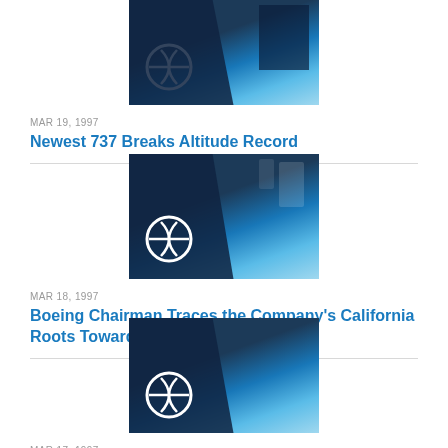[Figure (photo): Boeing logo on building with blue sky background]
MAR 19, 1997
Newest 737 Breaks Altitude Record
[Figure (photo): Boeing logo on building with blue sky background]
MAR 18, 1997
Boeing Chairman Traces the Company's California Roots Toward a World Vision
[Figure (photo): Boeing logo on building with blue sky background]
MAR 17, 1997
Boeing 777 Fatigue Test Airplane Completes